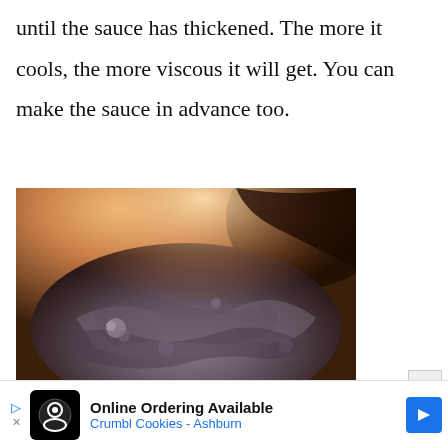until the sauce has thickened. The more it cools, the more viscous it will get. You can make the sauce in advance too.
[Figure (photo): Close-up photo of a thick, dark sauce bubbling and spreading in a pan, with a warm golden-orange light at the top and dark brown sauce texture throughout.]
Online Ordering Available Crumbl Cookies - Ashburn